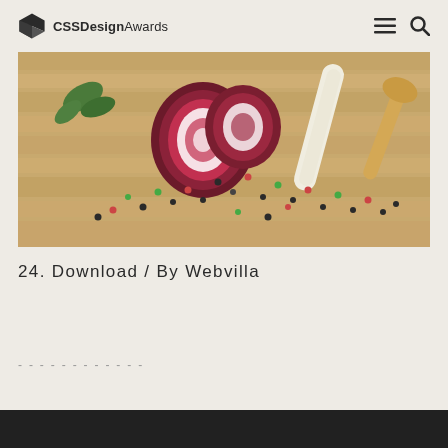CSS Design Awards
[Figure (photo): A cutting board with a sliced red onion, peppercorns scattered around, green herbs, and a white root vegetable (parsnip), wooden background]
24. Download / By Webvilla
- - - - - - - - - - - -
[Figure (photo): Bottom partial image, dark tones, partially visible]